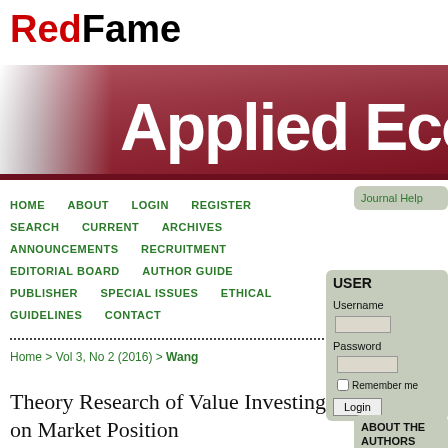RedFame
[Figure (logo): RedFame logo with red 'Red' and black 'Fame' text]
[Figure (illustration): Dark red/maroon gradient banner with white bold text reading 'Applied Econo' (truncated)]
HOME  ABOUT  LOGIN  REGISTER  SEARCH  CURRENT  ARCHIVES  ANNOUNCEMENTS  RECRUITMENT  EDITORIAL BOARD  AUTHOR GUIDE  PUBLISHER  SPECIAL ISSUES  ETHICAL GUIDELINES  CONTACT
Home > Vol 3, No 2 (2016) > Wang
Theory Research of Value Investing Based on Market Position